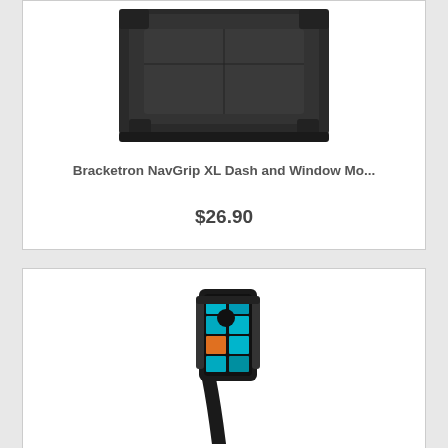[Figure (photo): Bracketron NavGrip XL Dash and Window Mount product photo - dark plastic folding mount device]
Bracketron NavGrip XL Dash and Window Mo...
$26.90
[Figure (photo): Phone mount product photo - smartphone in a car mount holder with cyan Windows Phone tiles visible on screen]